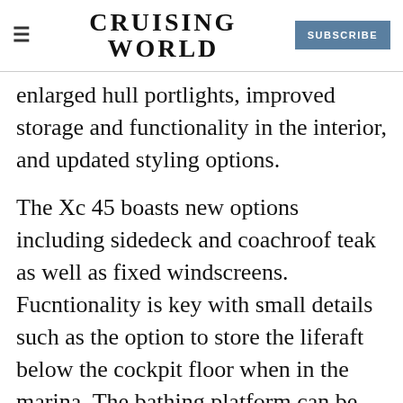CRUISING WORLD | SUBSCRIBE
enlarged hull portlights, improved storage and functionality in the interior, and updated styling options.
The Xc 45 boasts new options including sidedeck and coachroof teak as well as fixed windscreens. Fucntionality is key with small details such as the option to store the liferaft below the cockpit floor when in the marina. The bathing platform can be operated either electronically but
opened mechanically in emergency. In true X-Yachts style, all the halyards pass